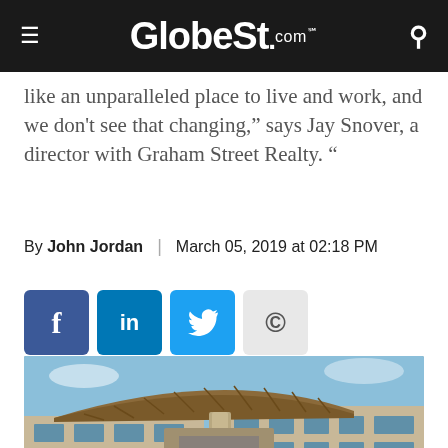GlobeSt.com
like an unparalleled place to live and work, and we don't see that changing," says Jay Snover, a director with Graham Street Realty. "
By John Jordan | March 05, 2019 at 02:18 PM
[Figure (infographic): Social sharing buttons: Facebook, LinkedIn, Twitter, Copyright/copy]
[Figure (photo): Exterior photo of a modern commercial building with curved wooden roof overhang and large column entrance, tan brick facade, blue sky background.]